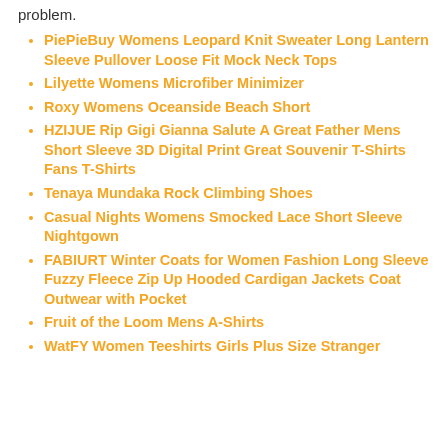problem.
PiePieBuy Womens Leopard Knit Sweater Long Lantern Sleeve Pullover Loose Fit Mock Neck Tops
Lilyette Womens Microfiber Minimizer
Roxy Womens Oceanside Beach Short
HZIJUE Rip Gigi Gianna Salute A Great Father Mens Short Sleeve 3D Digital Print Great Souvenir T-Shirts Fans T-Shirts
Tenaya Mundaka Rock Climbing Shoes
Casual Nights Womens Smocked Lace Short Sleeve Nightgown
FABIURT Winter Coats for Women Fashion Long Sleeve Fuzzy Fleece Zip Up Hooded Cardigan Jackets Coat Outwear with Pocket
Fruit of the Loom Mens A-Shirts
WatFY Women Teeshirts Girls Plus Size Stranger